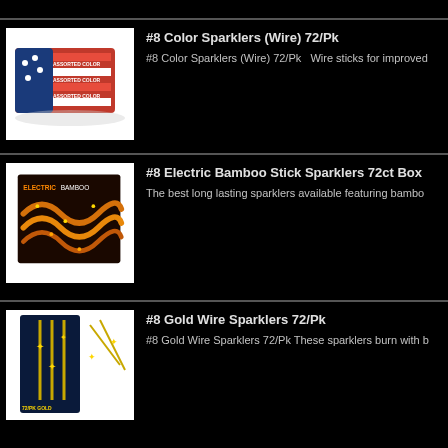[Figure (photo): Product photo of #8 Color Sparklers (Wire) 72/Pk — red/white/blue patriotic box with 'Assorted Color' text]
#8 Color Sparklers (Wire) 72/Pk
#8 Color Sparklers (Wire) 72/Pk   Wire sticks for improved
[Figure (photo): Product photo of #8 Electric Bamboo Stick Sparklers 72ct Box — dark packaging showing coiled sparklers]
#8 Electric Bamboo Stick Sparklers 72ct Box
The best long lasting sparklers available featuring bambo
[Figure (photo): Product photo of #8 Gold Wire Sparklers 72/Pk — dark blue packaging with gold sparklers shown]
#8 Gold Wire Sparklers 72/Pk
#8 Gold Wire Sparklers 72/Pk These sparklers burn with b